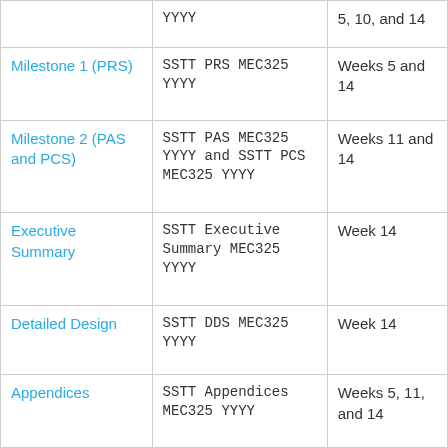|  | YYYY | 5, 10, and 14 |
| Milestone 1 (PRS) | SSTT PRS MEC325 YYYY | Weeks 5 and 14 |
| Milestone 2 (PAS and PCS) | SSTT PAS MEC325 YYYY and SSTT PCS MEC325 YYYY | Weeks 11 and 14 |
| Executive Summary | SSTT Executive Summary MEC325 YYYY | Week 14 |
| Detailed Design | SSTT DDS MEC325 YYYY | Week 14 |
| Appendices | SSTT Appendices MEC325 YYYY | Weeks 5, 11, and 14 |